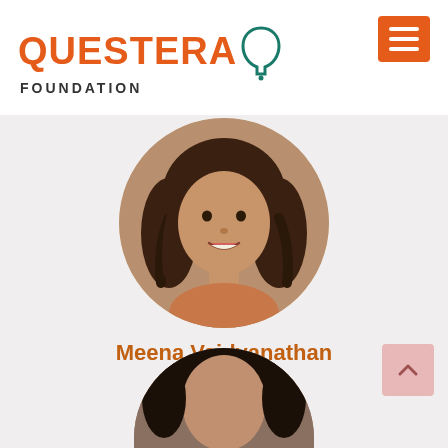[Figure (logo): Questera Foundation logo with orange text and teal head silhouette icon]
[Figure (photo): Circular profile photo of Meena Vaidyanathan, a woman with brown shoulder-length hair, smiling]
Meena Vaidyanathan
[Figure (infographic): Twitter bird icon and LinkedIn 'in' icon in blue/slate color]
[Figure (photo): Partially visible circular profile photo of a second person at the bottom of the page]